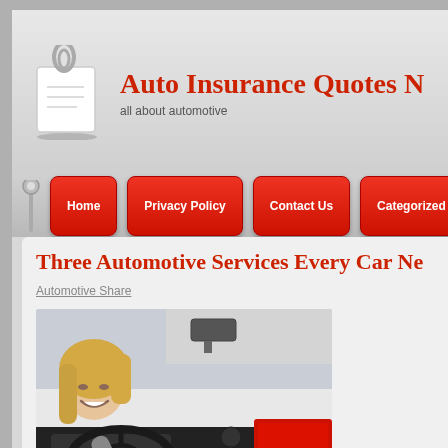[Figure (logo): Clipboard/notepad icon with paper clip, serving as website logo]
Auto Insurance Quotes N
all about automotive
Home | Privacy Policy | Contact Us | Categorized
Three Automotive Services Every Car Ne
Automotive Share
[Figure (photo): Blonde woman smiling sitting in car driver seat, reaching toward car dashboard/touchscreen]